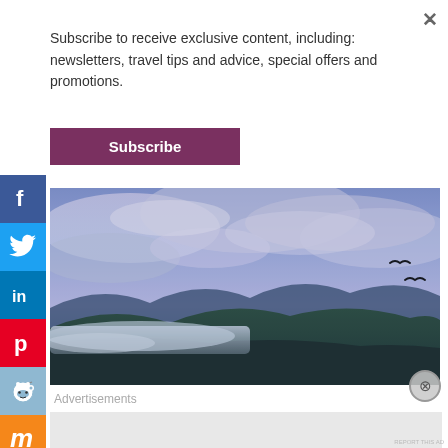Subscribe to receive exclusive content, including: newsletters, travel tips and advice, special offers and promotions.
Subscribe
[Figure (photo): Misty mountain landscape at dusk with blue/purple sky, low clouds around dark forested hills, and two birds flying in the distance]
Advertisements